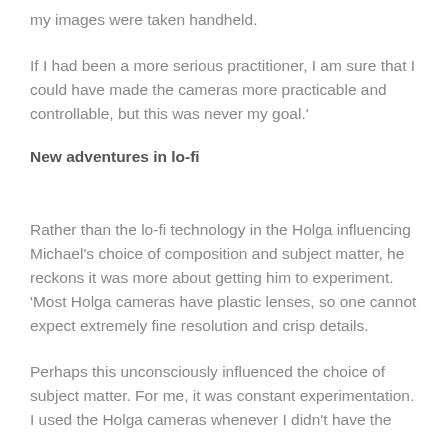my images were taken handheld.
If I had been a more serious practitioner, I am sure that I could have made the cameras more practicable and controllable, but this was never my goal.'
New adventures in lo-fi
Rather than the lo-fi technology in the Holga influencing Michael's choice of composition and subject matter, he reckons it was more about getting him to experiment. 'Most Holga cameras have plastic lenses, so one cannot expect extremely fine resolution and crisp details.
Perhaps this unconsciously influenced the choice of subject matter. For me, it was constant experimentation. I used the Holga cameras whenever I didn't have the